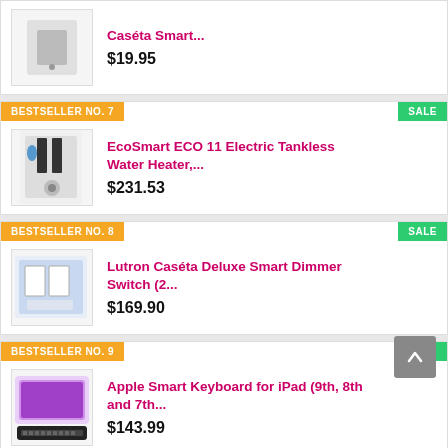Caséta Smart... $19.95
BESTSELLER NO. 7
SALE
EcoSmart ECO 11 Electric Tankless Water Heater,... $231.53
BESTSELLER NO. 8
SALE
Lutron Caséta Deluxe Smart Dimmer Switch (2... $169.90
BESTSELLER NO. 9
SALE
Apple Smart Keyboard for iPad (9th, 8th and 7th... $143.99
BESTSELLER NO. 10
Exercise Bike Assembly